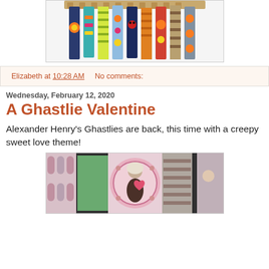[Figure (photo): Colorful fabric ribbons/bookmarks with floral and patterned designs standing upright in a wicker basket on a white background]
Elizabeth at 10:28 AM   No comments:
Wednesday, February 12, 2020
A Ghastlie Valentine
Alexander Henry's Ghastlies are back, this time with a creepy sweet love theme!
[Figure (photo): Alexander Henry Ghastlies Valentine fabric showing a gothic/spooky couple embracing in a circle medallion surrounded by pink heart and dot patterns in pastel colors]